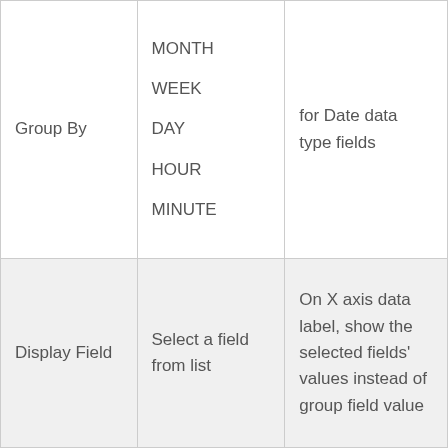| Group By | MONTH
WEEK
DAY
HOUR
MINUTE | for Date data type fields |
| Display Field | Select a field from list | On X axis data label, show the selected fields' values instead of group field value |